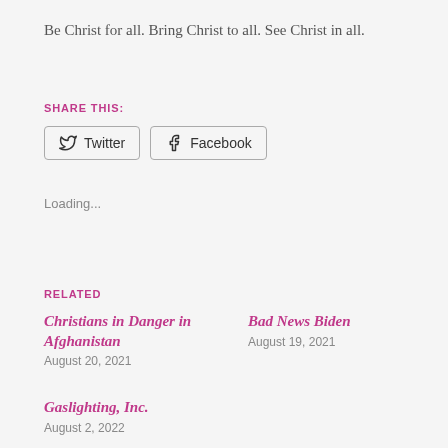Be Christ for all. Bring Christ to all. See Christ in all.
SHARE THIS:
Twitter   Facebook
Loading...
RELATED
Christians in Danger in Afghanistan
August 20, 2021
Bad News Biden
August 19, 2021
Gaslighting, Inc.
August 2, 2022